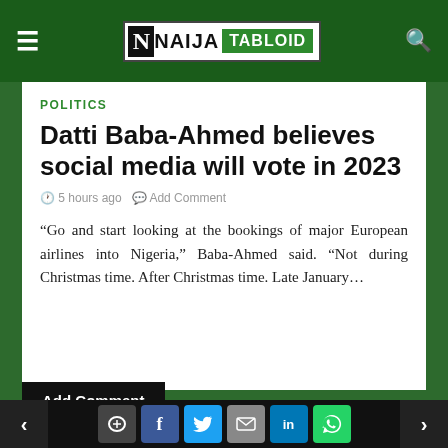NAIJA TABLOID
POLITICS
Datti Baba-Ahmed believes social media will vote in 2023
5 hours ago   Add Comment
“Go and start looking at the bookings of major European airlines into Nigeria,” Baba-Ahmed said. “Not during Christmas time. After Christmas time. Late January…
Add Comment